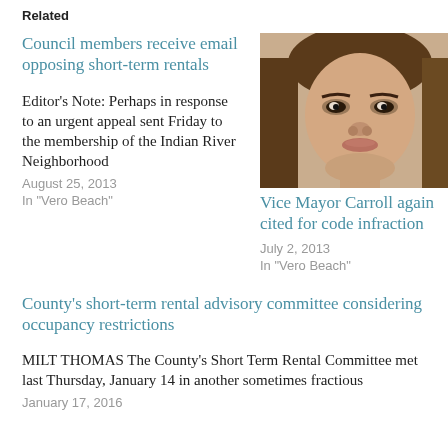Related
Council members receive email opposing short-term rentals
Editor’s Note:  Perhaps in response to an urgent appeal sent Friday to the membership of the Indian River Neighborhood
August 25, 2013
In “Vero Beach”
[Figure (photo): Photo of Vice Mayor Carroll, a woman with shoulder-length hair]
Vice Mayor Carroll again cited for code infraction
July 2, 2013
In “Vero Beach”
County’s short-term rental advisory committee considering occupancy restrictions
MILT THOMAS The County’s Short Term Rental Committee met last Thursday, January 14 in another sometimes fractious
January 17, 2016